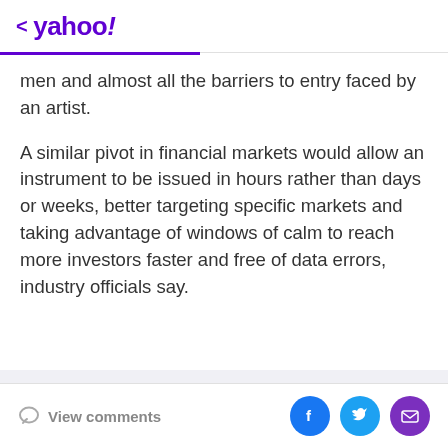< yahoo!
men and almost all the barriers to entry faced by an artist.
A similar pivot in financial markets would allow an instrument to be issued in hours rather than days or weeks, better targeting specific markets and taking advantage of windows of calm to reach more investors faster and free of data errors, industry officials say.
View comments